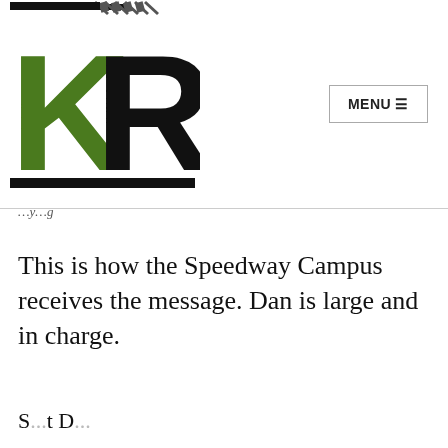[Figure (logo): KR logo with large green K and black R letters, black horizontal stripes at top and bottom, stylized racing/speedway theme]
MENU ☰
...y...g
This is how the Speedway Campus receives the message. Dan is large and in charge.
S...t D...